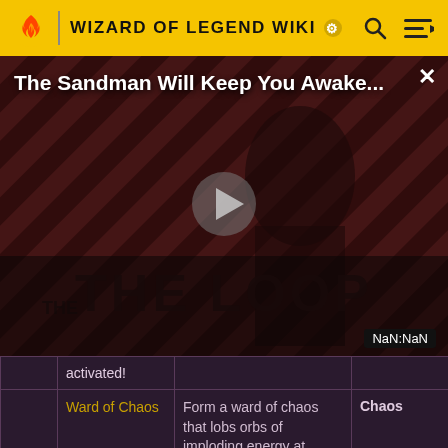WIZARD OF LEGEND WIKI
[Figure (screenshot): Video advertisement thumbnail: 'The Sandman Will Keep You Awake...' with a dark figure and diagonal stripe background, THE LOOP branding, play button, NaN:NaN timestamp]
|  | activated! |  |  |  |
|  | Ward of Chaos | Form a ward of chaos that lobs orbs of imploding energy at | Chaos | Standard |